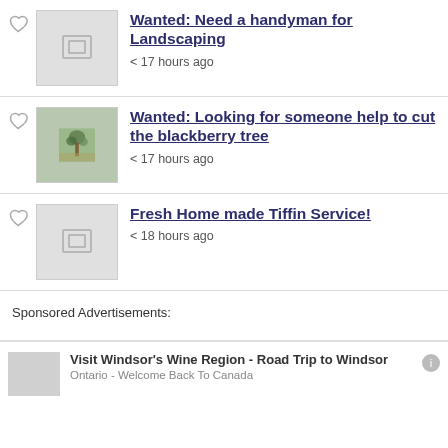Wanted: Need a handyman for Landscaping
< 17 hours ago
Wanted: Looking for someone help to cut the blackberry tree
< 17 hours ago
Fresh Home made Tiffin Service!
< 18 hours ago
Sponsored Advertisements:
Visit Windsor's Wine Region - Road Trip to Windsor
Ontario - Welcome Back To Canada